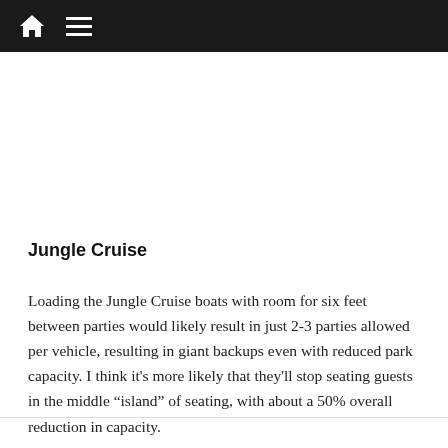Navigation bar with home icon and menu icon
Jungle Cruise
Loading the Jungle Cruise boats with room for six feet between parties would likely result in just 2-3 parties allowed per vehicle, resulting in giant backups even with reduced park capacity. I think it's more likely that they'll stop seating guests in the middle “island” of seating, with about a 50% overall reduction in capacity.
Personally, I'm super curious about whether any social-